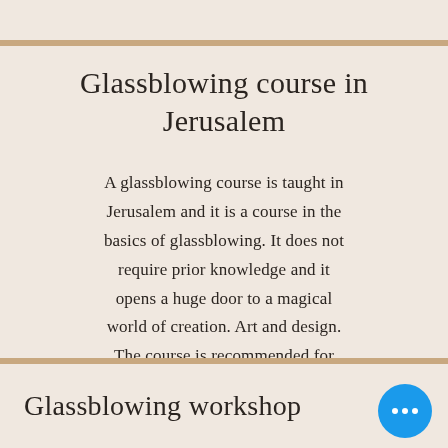Glassblowing course in Jerusalem
A glassblowing course is taught in Jerusalem and it is a course in the basics of glassblowing. It does not require prior knowledge and it opens a huge door to a magical world of creation. Art and design. The course is recommended for everyone.
Glassblowing workshop